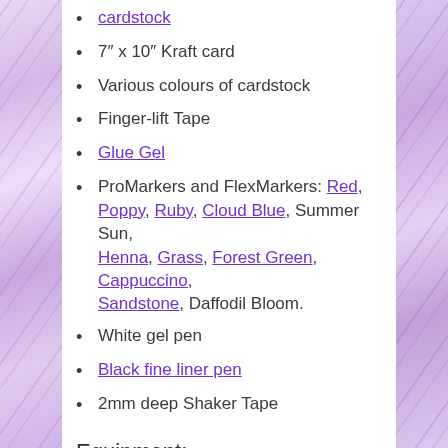cardstock
7" x 10" Kraft card
Various colours of cardstock
Finger-lift Tape
Glue Gel
ProMarkers and FlexMarkers: Red, Poppy, Ruby, Cloud Blue, Summer Sun, Henna, Grass, Forest Green, Cappuccino, Sandstone, Daffodil Bloom.
White gel pen
Black fine liner pen
2mm deep Shaker Tape
Equipment:
Score Board
Scissors
ScanNCut